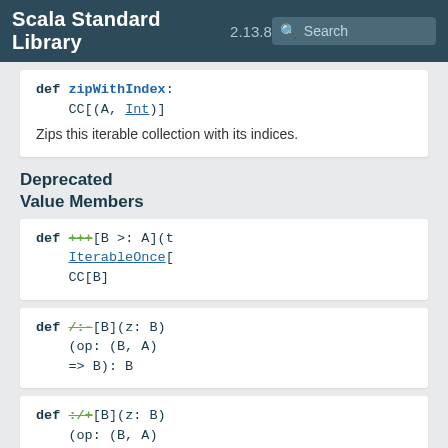Scala Standard Library 2.13.8
def zipWithIndex: CC[(A, Int)]
Zips this iterable collection with its indices.
Deprecated Value Members
def +++[B >: A](t IterableOnce[ CC[B]
def /:-[B](z: B)(op: (B, A) => B): B
def :/+[B](z: B)(op: (B, A) => B): B
def :\[B](z: B)(op: (A, B) => B): B